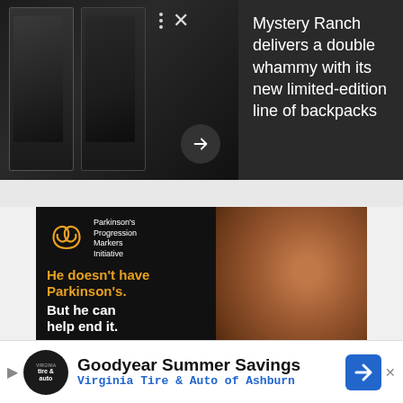[Figure (photo): Dark background ad showing two military/tactical backpacks hanging on display, with an arrow navigation button and close X button]
Mystery Ranch delivers a double whammy with its new limited-edition line of backpacks
[Figure (photo): Parkinson's Progression Markers Initiative advertisement showing a Black man's face closeup with orange and white text: 'He doesn't have Parkinson's. But he can help end it. Join the study that could']
[Figure (infographic): Goodyear Summer Savings advertisement for Virginia Tire & Auto of Ashburn with tire & auto logo]